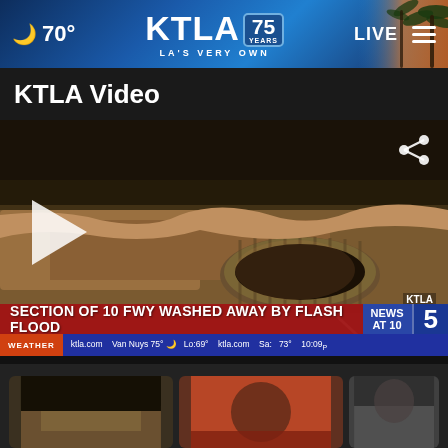🌙 70° KTLA 75 YEARS LA'S VERY OWN LIVE ☰
KTLA Video
[Figure (screenshot): Video thumbnail showing flood damage under a freeway - a section of the 10 Freeway washed away by flash flood, showing exposed culvert/drainage pipe and eroded dirt. Lower third chyron reads: SECTION OF 10 FWY WASHED AWAY BY FLASH FLOOD, NEWS AT 10, channel 5 logo, KTLA bug. Weather ticker: WEATHER | ktla.com Van Nuys 75° Lo:69° ktla.com Sa: 73° 10:09. Share icon in top right, play button triangle on left side.]
[Figure (photo): Bottom thumbnail 1 - dark/flood related image]
[Figure (photo): Bottom thumbnail 2 - reddish scene with people]
[Figure (photo): Bottom thumbnail 3 - partially visible]